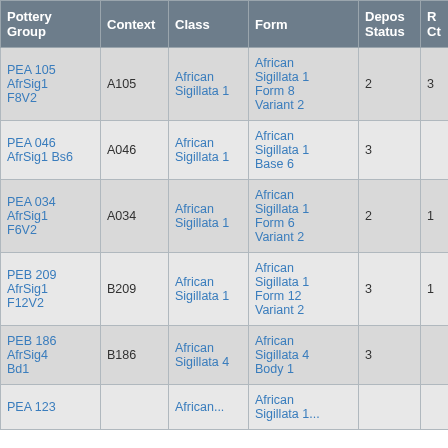| Pottery Group | Context | Class | Form | Depos Status | R Ct | R EV |
| --- | --- | --- | --- | --- | --- | --- |
| PEA 105 AfrSig1 F8V2 | A105 | African Sigillata 1 | African Sigillata 1 Form 8 Variant 2 | 2 | 3 | 3 |
| PEA 046 AfrSig1 Bs6 | A046 | African Sigillata 1 | African Sigillata 1 Base 6 | 3 |  |  |
| PEA 034 AfrSig1 F6V2 | A034 | African Sigillata 1 | African Sigillata 1 Form 6 Variant 2 | 2 | 1 | 1 |
| PEB 209 AfrSig1 F12V2 | B209 | African Sigillata 1 | African Sigillata 1 Form 12 Variant 2 | 3 | 1 | 1 |
| PEB 186 AfrSig4 Bd1 | B186 | African Sigillata 4 | African Sigillata 4 Body 1 | 3 |  |  |
| PEA 123 |  | African... | African Sigillata 1... |  |  |  |